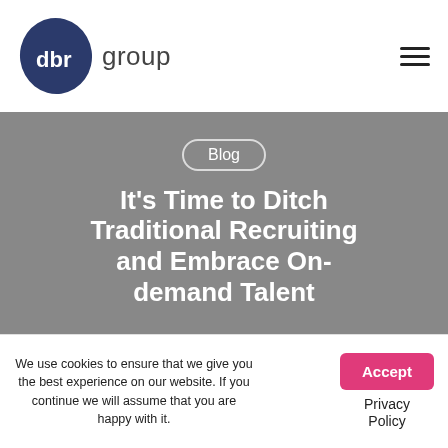[Figure (logo): DBR Group logo — dark navy blue oval/blob shape with white 'dbr' text inside, followed by 'group' in grey text]
It's Time to Ditch Traditional Recruiting and Embrace On-demand Talent
We use cookies to ensure that we give you the best experience on our website. If you continue we will assume that you are happy with it.
Accept
Privacy Policy